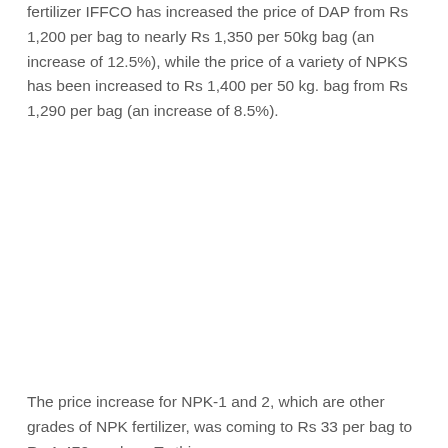fertilizer IFFCO has increased the price of DAP from Rs 1,200 per bag to nearly Rs 1,350 per 50kg bag (an increase of 12.5%), while the price of a variety of NPKS has been increased to Rs 1,400 per 50 kg. bag from Rs 1,290 per bag (an increase of 8.5%).
The price increase for NPK-1 and 2, which are other grades of NPK fertilizer, was coming to Rs 33 per bag to Rs 1,470 per bag. To this